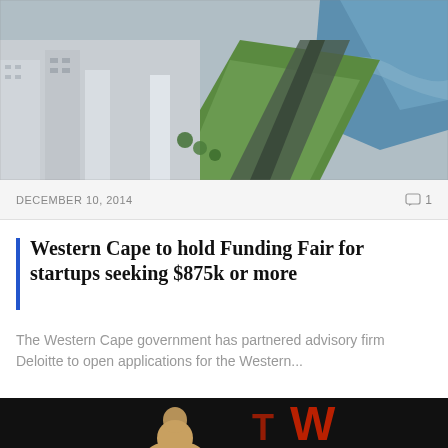[Figure (photo): Aerial view of Cape Town coastline showing buildings, green strip along the road, and ocean]
DECEMBER 10, 2014
1
Western Cape to hold Funding Fair for startups seeking $875k or more
The Western Cape government has partnered advisory firm Deloitte to open applications for the Western...
[Figure (photo): Man in light yellow shirt standing on a dark stage with a large red TEDx logo in background]